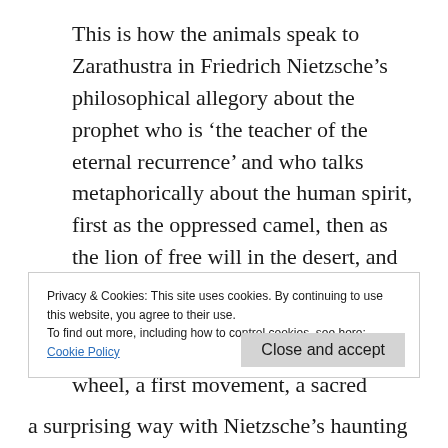This is how the animals speak to Zarathustra in Friedrich Nietzsche's philosophical allegory about the prophet who is 'the teacher of the eternal recurrence' and who talks metaphorically about the human spirit, first as the oppressed camel, then as the lion of free will in the desert, and finally as the boy, a child who is 'innocence and forgetting, a new beginning, a game, a self-propelled wheel, a first movement, a sacred "Yes".'[2]
Privacy & Cookies: This site uses cookies. By continuing to use this website, you agree to their use.
To find out more, including how to control cookies, see here:
Cookie Policy
Close and accept
a surprising way with Nietzsche's haunting